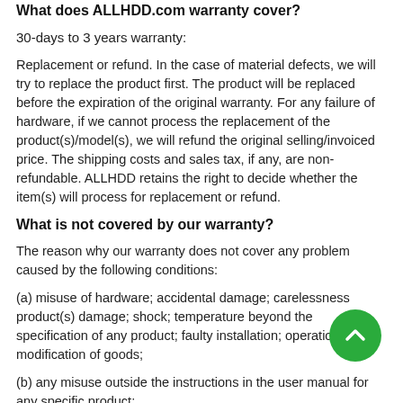What does ALLHDD.com warranty cover?
30-days to 3 years warranty:
Replacement or refund. In the case of material defects, we will try to replace the product first. The product will be replaced before the expiration of the original warranty. For any failure of hardware, if we cannot process the replacement of the product(s)/model(s), we will refund the original selling/invoiced price. The shipping costs and sales tax, if any, are non-refundable. ALLHDD retains the right to decide whether the item(s) will process for replacement or refund.
What is not covered by our warranty?
The reason why our warranty does not cover any problem caused by the following conditions:
(a) misuse of hardware; accidental damage; carelessness product(s) damage; shock; temperature beyond the specification of any product; faulty installation; operation; modification of goods;
(b) any misuse outside the instructions in the user manual for any specific product;
(c) damaged caused by other hardware or equipment. The warranty will void if the item is returned with physical damage.